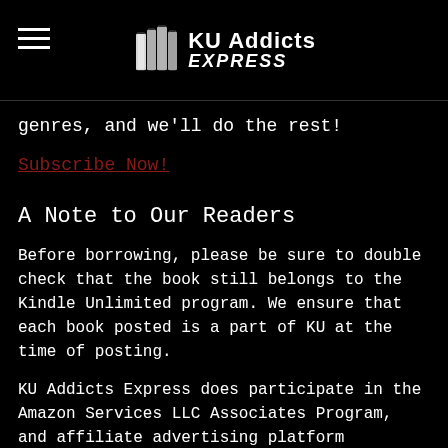KU Addicts Express
genres, and we'll do the rest!
Subscribe Now!
A Note to Our Readers
Before borrowing, please be sure to double check that the book still belongs to the Kindle Unlimited program. We ensure that each book posted is a part of KU at the time of posting.
KU Addicts Express does participate in the Amazon Services LLC Associates Program, and affiliate advertising platform designed to provide a means for sites like ours to earn advertising fees by advertising and linking directly to Amazon.com